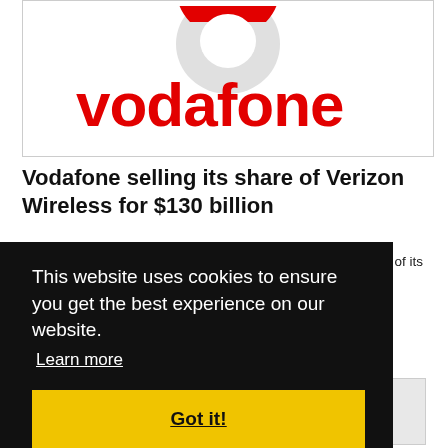[Figure (logo): Vodafone logo: red speech mark / quotation bubble above the word 'vodafone' in red lowercase letters on white background]
Vodafone selling its share of Verizon Wireless for $130 billion
Verizon Communications has agreed to buy Vodafone's share of its US mobile phone business for $130 billion.
This website uses cookies to ensure you get the best experience on our website. Learn more
Got it!